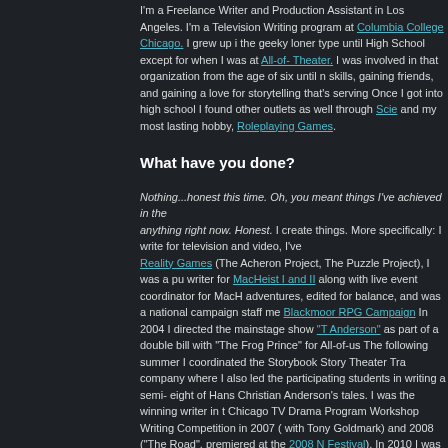I'm a Freelance Writer and Production Assistant in Los Angeles. I'm a Television Writing program at Columbia College Chicago. I grew up the geeky loner type until High School except for when I was at All-of-Theater. I was involved in that organization from the age of six until skills, gaining friends, and gaining a love for storytelling that's serving Once I got into high school I found other outlets as well through Scie and my most lasting hobby, Roleplaying Games.
What have you done?
Nothing...honest this time. Oh, you meant things I've achieved in the anything right now. Honest. I create things. More specifically: I write for television and video, I've Reality Games (The Acheron Project, The Puzzle Project), I was a pu writer for MacHeist I and II along with live event coordinator for MacH adventures, edited for balance, and was a national campaign staff me Blackmoor RPG Campaign In 2004 I directed the mainstage show "T Anderson" as part of a double bill with "The Frog Prince" for All-of-us The following summer I coordinated the Storybook Story Theater Tra company where I also led the participating students in writing a semi eight of Hans Christian Anderson's tales. I was the winning writer in t Chicago TV Drama Program Workshop Writing Competition in 2007 with Tony Goldmark) and 2008 ("The Road", premiered at the 2008 M Festival). In 2010 I was a part of the Semester In LA Program on the Ra Election 2010 I became the Special Projects Manager for Organizing For